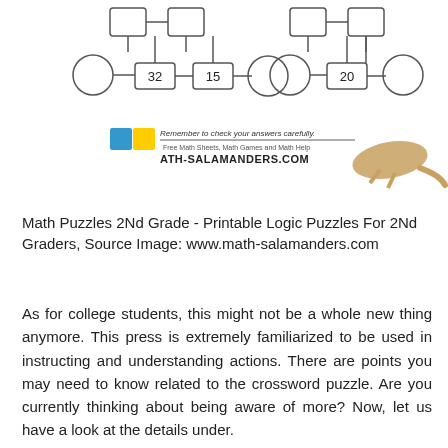[Figure (illustration): Math puzzle worksheet diagram showing connected shapes (rectangles and circles) with numbers 32, 15, and 20 in boxes, along with the math-salamanders.com logo with a salamander illustration and text 'Remember to check your answers carefully. Free Math Sheets, Math Games and Math Help. MATH-SALAMANDERS.COM']
Math Puzzles 2Nd Grade - Printable Logic Puzzles For 2Nd Graders, Source Image: www.math-salamanders.com
As for college students, this might not be a whole new thing anymore. This press is extremely familiarized to be used in instructing and understanding actions. There are points you may need to know related to the crossword puzzle. Are you currently thinking about being aware of more? Now, let us have a look at the details under.